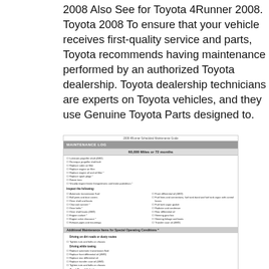2008 Also See for Toyota 4Runner 2008. Toyota 2008 To ensure that your vehicle receives first-quality service and parts, Toyota recommends having maintenance performed by an authorized Toyota dealership. Toyota dealership technicians are experts on Toyota vehicles, and they use Genuine Toyota Parts designed to.
[Figure (other): Thumbnail image of a Toyota 4Runner 2008 Maintenance Log page showing the 60,000 Miles or 72 months service checklist with items to lubricate, inspect, and replace, as well as Additional Maintenance Items for Special Operating Conditions.]